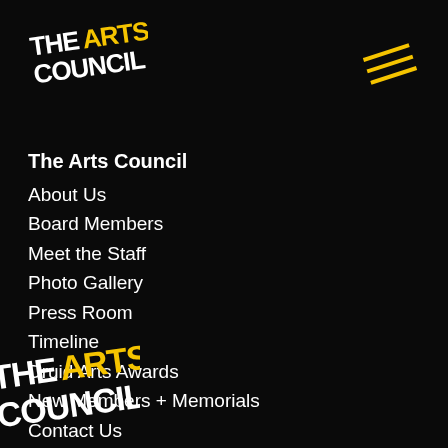[Figure (logo): The Arts Council logo top-left: white text 'THE' and 'COUNCIL', yellow text 'ARTS', bold sans-serif, tilted/rotated style on black background]
[Figure (other): Hamburger menu icon: three yellow diagonal parallel lines, top-right corner]
The Arts Council
About Us
Board Members
Meet the Staff
Photo Gallery
Press Room
Timeline
Druid Arts Awards
New Members + Memorials
Contact Us
[Figure (logo): The Arts Council logo bottom-left: same logo partially cropped, white and yellow text on black background]